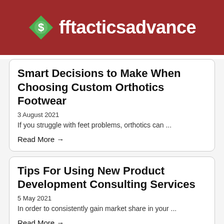fftacticsadvance
Smart Decisions to Make When Choosing Custom Orthotics Footwear
3 August 2021
If you struggle with feet problems, orthotics can ...
Read More →
Tips For Using New Product Development Consulting Services
5 May 2021
In order to consistently gain market share in your ...
Read More →